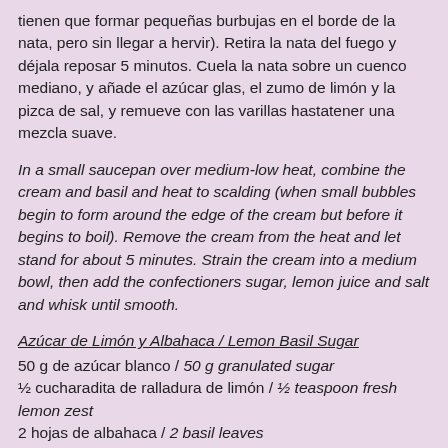tienen que formar pequeñas burbujas en el borde de la nata, pero sin llegar a hervir). Retira la nata del fuego y déjala reposar 5 minutos. Cuela la nata sobre un cuenco mediano, y añade el azúcar glas, el zumo de limón y la pizca de sal, y remueve con las varillas hastatener una mezcla suave.
In a small saucepan over medium-low heat, combine the cream and basil and heat to scalding (when small bubbles begin to form around the edge of the cream but before it begins to boil). Remove the cream from the heat and let stand for about 5 minutes. Strain the cream into a medium bowl, then add the confectioners sugar, lemon juice and salt and whisk until smooth.
Azúcar de Limón y Albahaca / Lemon Basil Sugar
50 g de azúcar blanco / 50 g granulated sugar
½ cucharadita de ralladura de limón / ½ teaspoon fresh lemon zest
2 hojas de albahaca / 2 basil leaves
En una picadora, combina el azúcar con la ralladura de limón y la albahaca, y pica hasta que todo quede bien